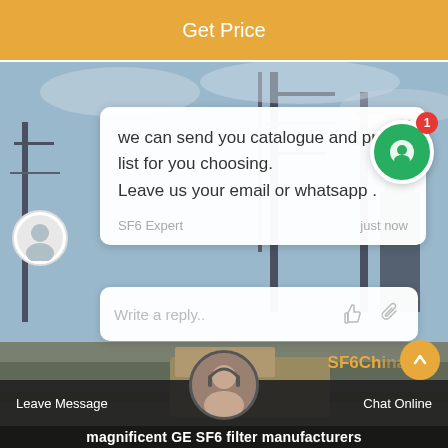Get Price
[Figure (screenshot): Screenshot of a website chat popup overlaid on a photo of a power substation/electrical infrastructure. The chat bubble contains a message from SF6 Expert saying 'we can send you catalogue and price list for you choosing. Leave us your email or whatsapp .' with a reply input box below. A green chat widget with notification badge (1) is visible. Bottom bar shows Leave Message and Chat Online buttons with a support agent avatar. SF6China logo visible. Text at very bottom reads 'magnificent GE SF6 filter manufacturers'.]
we can send you catalogue and price list for you choosing. Leave us your email or whatsapp .
SF6 Expert
just now
Write a reply..
Leave Message
Chat Online
magnificent GE SF6 filter manufacturers